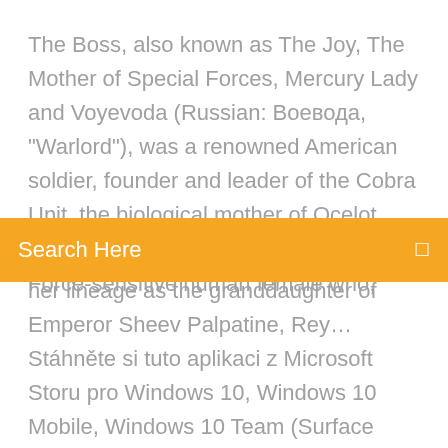The Boss, also known as The Joy, The Mother of Special Forces, Mercury Lady and Voyevoda (Russian: Воевода, "Warlord"), was a renowned American soldier, founder and leader of the Cobra Unit, the biological mother of Ocelot, and mentor and… Rey Skywalker was a Force-sensitive human female who,
Search Here
her lineage as the granddaughter of Emperor Sheev Palpatine, Rey… Stáhněte si tuto aplikaci z Microsoft Storu pro Windows 10, Windows 10 Mobile, Windows 10 Team (Surface Hub), HoloLens, Xbox One. Podívejte se na snímky obrazovky z aplikace ShoppersPk, přečtěte si nejnovější zákaznické recenze a porovnejte… Learn about Sigma's 17-50mm 2.8 DC HSM OS camera lens. Shoot from wide-angle to standard with this incredibly sharp and fast zoom lens designed for APS-c cameras. A fixed 2.8 aperture make it great in lowlight along with a stabilizer. Kupte knihu Drawn to Nature Through the